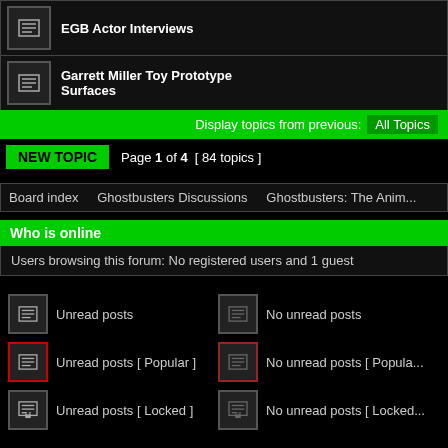| [icon] | EGB Actor Interviews |  |
| [icon] | Garrett Miller Toy Prototype Surfaces |  |
Display topics from previous: All Topics
NEW TOPIC   Page 1 of 4  [ 84 topics ]
Board index   Ghostbusters Discussions   Ghostbusters: The Anim...
Who is online
Users browsing this forum: No registered users and 1 guest
Unread posts
No unread posts
Unread posts [ Popular ]
No unread posts [ Popular ]
Unread posts [ Locked ]
No unread posts [ Locked ]
Search for:  [input]  Go
EctoGreen © ... Imageset from ClassyDark by ayasha ... Powered by phpBB®